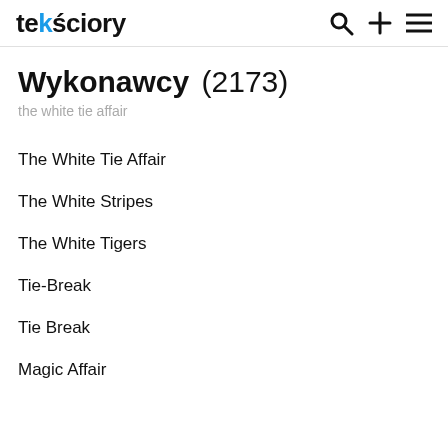tekściory
Wykonawcy (2173)
the white tie affair
The White Tie Affair
The White Stripes
The White Tigers
Tie-Break
Tie Break
Magic Affair